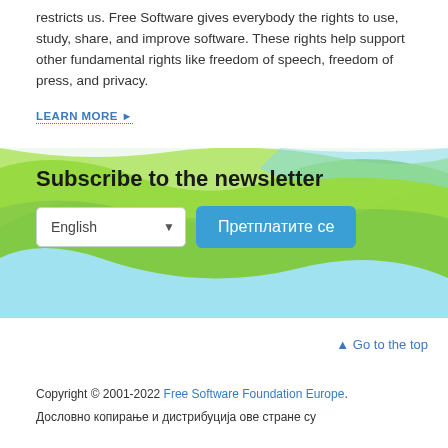restricts us. Free Software gives everybody the rights to use, study, share, and improve software. These rights help support other fundamental rights like freedom of speech, freedom of press, and privacy.
LEARN MORE ▶
[Figure (infographic): Newsletter subscription banner with green and blue wave background design containing the title 'Subscribe to the newsletter', a language dropdown set to 'English', and a blue subscription button labeled 'Претплатите се']
▲ Go to the top
Copyright © 2001-2022 Free Software Foundation Europe. Дословно копирање и дистрибуција ове стране су